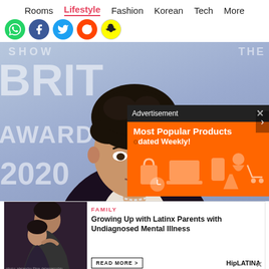Rooms | Lifestyle | Fashion | Korean | Tech | More
[Figure (screenshot): Social media share icons: WhatsApp (green), Facebook (blue), Twitter (light blue), Reddit (orange), Snapchat (yellow)]
[Figure (photo): Photo of a young man with dark tousled hair at the BRIT Awards 2020 red carpet event, wearing a dark suit. Background shows BRIT AWARDS 2020 text and Mastercard logo.]
[Figure (screenshot): Advertisement overlay: dark header bar reading 'Advertisement' with X close button. Orange body with text 'Most Popular Products' and 'Updated Weekly!' with shopping item icons.]
[Figure (photo): Thumbnail image showing two people embracing, possibly a mother and child, dark toned photo with photo credit text at bottom left.]
FAMILY
Growing Up with Latinx Parents with Undiagnosed Mental Illness
READ MORE >
HipLATINA